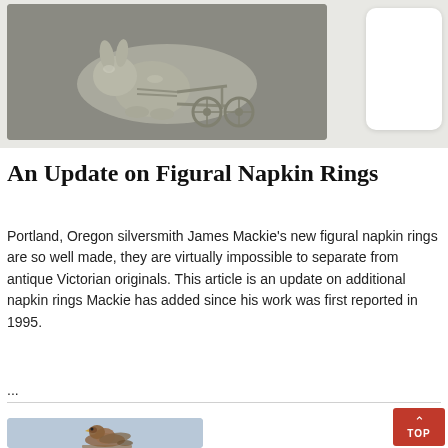[Figure (photo): Silver figural napkin ring in the shape of a rabbit pulling a wheeled cart, photographed against a gray background]
An Update on Figural Napkin Rings
Portland, Oregon silversmith James Mackie's new figural napkin rings are so well made, they are virtually impossible to separate from antique Victorian originals. This article is an update on additional napkin rings Mackie has added since his work was first reported in 1995.
...
[Figure (photo): Bird figurine (appears to be a hawk or falcon) photographed against a light blue background]